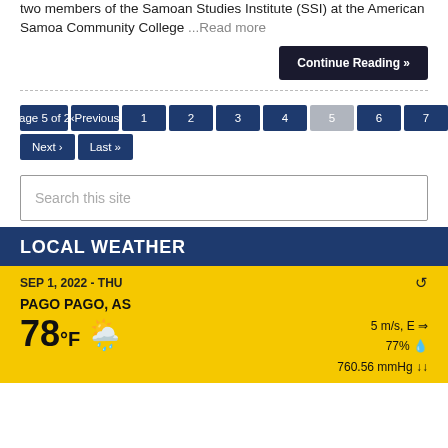two members of the Samoan Studies Institute (SSI) at the American Samoa Community College ...Read more
Continue Reading »
Page 5 of 24 ‹Previous 1 2 3 4 5 6 7 8 9 Next› Last»
Search this site
LOCAL WEATHER
SEP 1, 2022 - THU
PAGO PAGO, AS
78°F  5 m/s, E  77%  760.56 mmHg